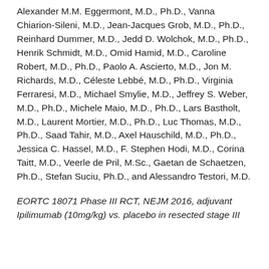Alexander M.M. Eggermont, M.D., Ph.D., Vanna Chiarion-Sileni, M.D., Jean-Jacques Grob, M.D., Ph.D., Reinhard Dummer, M.D., Jedd D. Wolchok, M.D., Ph.D., Henrik Schmidt, M.D., Omid Hamid, M.D., Caroline Robert, M.D., Ph.D., Paolo A. Ascierto, M.D., Jon M. Richards, M.D., Céleste Lebbé, M.D., Ph.D., Virginia Ferraresi, M.D., Michael Smylie, M.D., Jeffrey S. Weber, M.D., Ph.D., Michele Maio, M.D., Ph.D., Lars Bastholt, M.D., Laurent Mortier, M.D., Ph.D., Luc Thomas, M.D., Ph.D., Saad Tahir, M.D., Axel Hauschild, M.D., Ph.D., Jessica C. Hassel, M.D., F. Stephen Hodi, M.D., Corina Taitt, M.D., Veerle de Pril, M.Sc., Gaetan de Schaetzen, Ph.D., Stefan Suciu, Ph.D., and Alessandro Testori, M.D.
EORTC 18071 Phase III RCT, NEJM 2016, adjuvant Ipilimumab (10mg/kg) vs. placebo in resected stage III